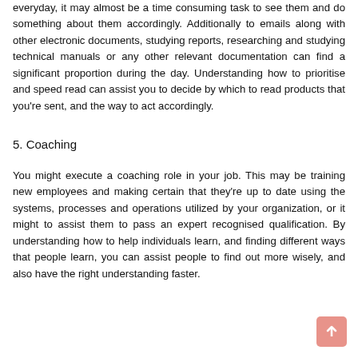everyday, it may almost be a time consuming task to see them and do something about them accordingly. Additionally to emails along with other electronic documents, studying reports, researching and studying technical manuals or any other relevant documentation can find a significant proportion during the day. Understanding how to prioritise and speed read can assist you to decide by which to read products that you're sent, and the way to act accordingly.
5. Coaching
You might execute a coaching role in your job. This may be training new employees and making certain that they're up to date using the systems, processes and operations utilized by your organization, or it might to assist them to pass an expert recognised qualification. By understanding how to help individuals learn, and finding different ways that people learn, you can assist people to find out more wisely, and also have the right understanding faster.